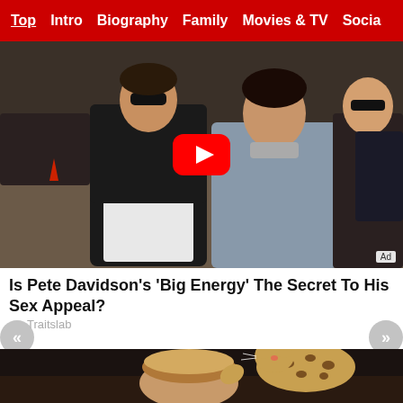Top  Intro  Biography  Family  Movies & TV  Social
[Figure (photo): Photo of Pete Davidson and Kim Kardashian walking together at an event, with a YouTube play button overlay in the center. An 'Ad' badge is in the bottom right corner.]
Is Pete Davidson's 'Big Energy' The Secret To His Sex Appeal?
Traitslab
[Figure (photo): Photo of a woman with short blonde hair and a large spotted cat (possibly a serval or ocelot) reaching up toward her face, in a dark indoor setting.]